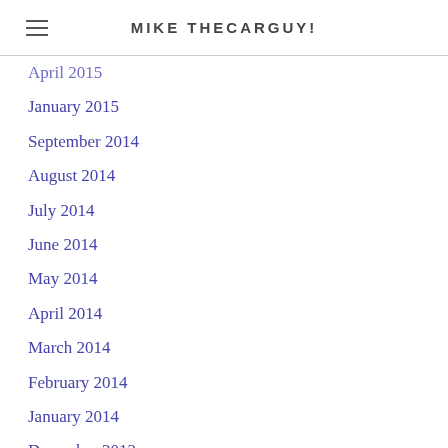MIKE THECARGUY!
April 2015
January 2015
September 2014
August 2014
July 2014
June 2014
May 2014
April 2014
March 2014
February 2014
January 2014
December 2013
November 2013
October 2013
September 2013
August 2013
June 2013
April 2013